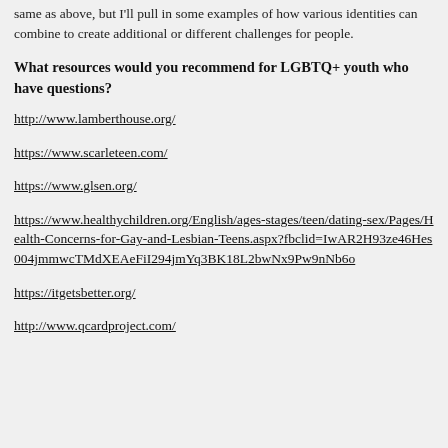same as above, but I'll pull in some examples of how various identities can combine to create additional or different challenges for people.
What resources would you recommend for LGBTQ+ youth who have questions?
http://www.lamberthouse.org/
https://www.scarleteen.com/
https://www.glsen.org/
https://www.healthychildren.org/English/ages-stages/teen/dating-sex/Pages/Health-Concerns-for-Gay-and-Lesbian-Teens.aspx?fbclid=IwAR2H93ze46Hes004jmmwcTMdXEAeFiI294jmYq3BK18L2bwNx9Pw9nNb6o
https://itgetsbetter.org/
http://www.qcardproject.com/